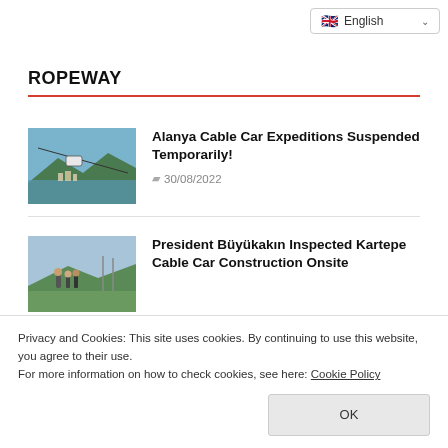English
ROPEWAY
Alanya Cable Car Expeditions Suspended Temporarily!
30/08/2022
[Figure (photo): Aerial view of cable car gondola over coastal town]
President Büyükakın Inspected Kartepe Cable Car Construction Onsite
[Figure (photo): People standing on hilltop looking at construction site]
Privacy and Cookies: This site uses cookies. By continuing to use this website, you agree to their use.
For more information on how to check cookies, see here: Cookie Policy